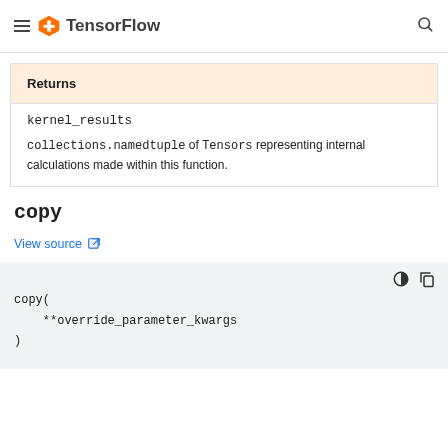TensorFlow
| Returns |
| --- |
| kernel_results | collections.namedtuple of Tensors representing internal calculations made within this function. |
copy
View source
copy(
    **override_parameter_kwargs
)